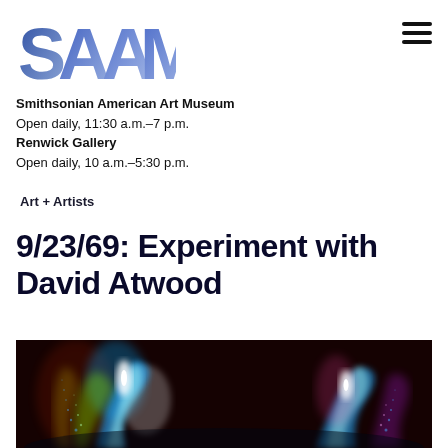[Figure (logo): SAAM logo in blue gradient letters]
Smithsonian American Art Museum
Open daily, 11:30 a.m.–7 p.m.
Renwick Gallery
Open daily, 10 a.m.–5:30 p.m.
Art + Artists
9/23/69: Experiment with David Atwood
[Figure (photo): Abstract glowing light art on dark red/black background showing dynamic colorful light trails resembling organic forms]